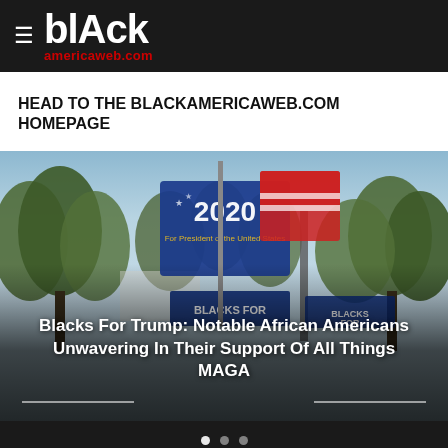≡ blAck americaweb.com
HEAD TO THE BLACKAMERICAWEB.COM HOMEPAGE
[Figure (photo): Outdoor photo showing 'Blacks for Trump 2020' campaign flags waving against a sky with trees in the background. White banner text overlaid reads: Blacks For Trump: Notable African Americans Unwavering In Their Support Of All Things MAGA]
Blacks For Trump: Notable African Americans Unwavering In Their Support Of All Things MAGA